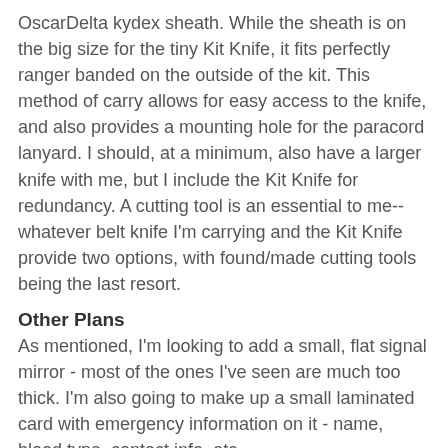OscarDelta kydex sheath. While the sheath is on the big size for the tiny Kit Knife, it fits perfectly ranger banded on the outside of the kit. This method of carry allows for easy access to the knife, and also provides a mounting hole for the paracord lanyard. I should, at a minimum, also have a larger knife with me, but I include the Kit Knife for redundancy. A cutting tool is an essential to me--whatever belt knife I'm carrying and the Kit Knife provide two options, with found/made cutting tools being the last resort.
Other Plans
As mentioned, I'm looking to add a small, flat signal mirror - most of the ones I've seen are much too thick. I'm also going to make up a small laminated card with emergency information on it - name, blood type, contact info, etc.
Contents List:
I've included links or notes next to items.
Fire:
Mini Bic Lighter - lighter colors allow you to see